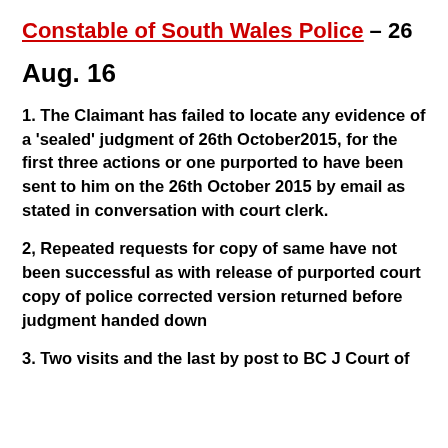Constable of South Wales Police – 26
Aug. 16
1. The Claimant has failed to locate any evidence of a 'sealed' judgment of 26th October2015, for the first three actions or one purported to have been sent to him on the 26th October 2015 by email as stated in conversation with court clerk.
2, Repeated requests for copy of same have not been successful as with release of purported court copy of police corrected version returned before judgment handed down
3. Two visits and the last by post to BC J Court of